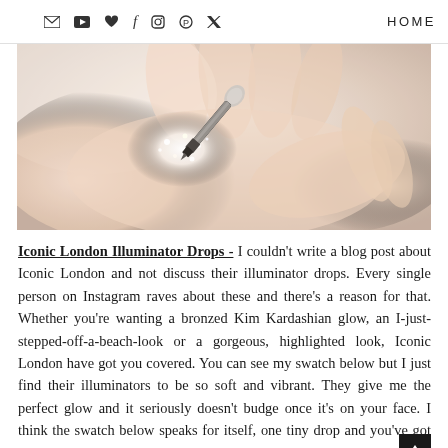✉ ▶ ♥ f ⬜ ⊕ 𝕏  HOME
[Figure (photo): Close-up photo of a person applying a shimmery liquid highlighter/illuminator product with a dropper applicator onto the back of their hand. The product appears pearlescent and glittery. The background is soft and light.]
Iconic London Illuminator Drops - I couldn't write a blog post about Iconic London and not discuss their illuminator drops. Every single person on Instagram raves about these and there's a reason for that. Whether you're wanting a bronzed Kim Kardashian glow, an I-just-stepped-off-a-beach-look or a gorgeous, highlighted look, Iconic London have got you covered. You can see my swatch below but I just find their illuminators to be so soft and vibrant. They give me the perfect glow and it seriously doesn't budge once it's on your face. I think the swatch below speaks for itself, one tiny drop and you've got the most unicorn worthy glow. I personally